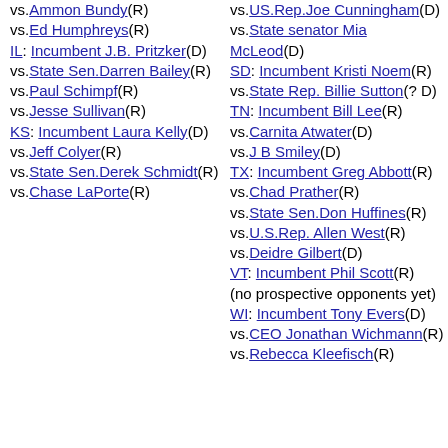vs.Ammon Bundy(R)
vs.Ed Humphreys(R)
IL: Incumbent J.B. Pritzker(D)
vs.State Sen.Darren Bailey(R)
vs.Paul Schimpf(R)
vs.Jesse Sullivan(R)
KS: Incumbent Laura Kelly(D)
vs.Jeff Colyer(R)
vs.State Sen.Derek Schmidt(R)
vs.Chase LaPorte(R)
vs.US.Rep.Joe Cunningham(D)
vs.State senator Mia McLeod(D)
SD: Incumbent Kristi Noem(R)
vs.State Rep. Billie Sutton(? D)
TN: Incumbent Bill Lee(R)
vs.Carnita Atwater(D)
vs.J B Smiley(D)
TX: Incumbent Greg Abbott(R)
vs.Chad Prather(R)
vs.State Sen.Don Huffines(R)
vs.U.S.Rep. Allen West(R)
vs.Deidre Gilbert(D)
VT: Incumbent Phil Scott(R)
(no prospective opponents yet)
WI: Incumbent Tony Evers(D)
vs.CEO Jonathan Wichmann(R)
vs.Rebecca Kleefisch(R)